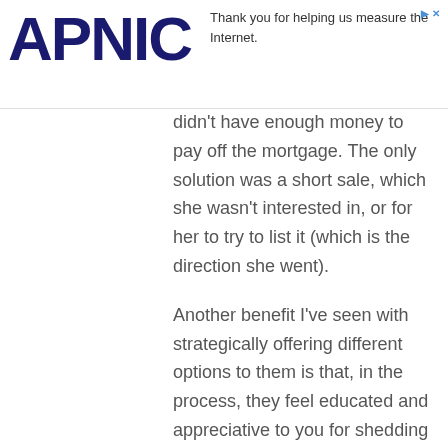Thank you for helping us measure the Internet.
didn't have enough money to pay off the mortgage. The only solution was a short sale, which she wasn't interested in, or for her to try to list it (which is the direction she went).
Another benefit I've seen with strategically offering different options to them is that, in the process, they feel educated and appreciative to you for shedding light on the reality of their situation. Nearly every single caller I've spoken to thanked me